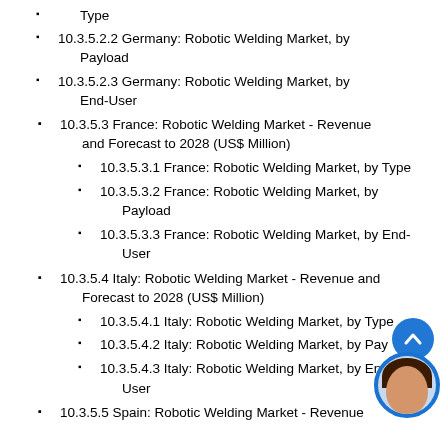Type
10.3.5.2.2 Germany: Robotic Welding Market, by Payload
10.3.5.2.3 Germany: Robotic Welding Market, by End-User
10.3.5.3 France: Robotic Welding Market - Revenue and Forecast to 2028 (US$ Million)
10.3.5.3.1 France: Robotic Welding Market, by Type
10.3.5.3.2 France: Robotic Welding Market, by Payload
10.3.5.3.3 France: Robotic Welding Market, by End-User
10.3.5.4 Italy: Robotic Welding Market - Revenue and Forecast to 2028 (US$ Million)
10.3.5.4.1 Italy: Robotic Welding Market, by Type
10.3.5.4.2 Italy: Robotic Welding Market, by Payload
10.3.5.4.3 Italy: Robotic Welding Market, by End-User
10.3.5.5 Spain: Robotic Welding Market - Revenue and Forecast to 2028 (US$ Million)